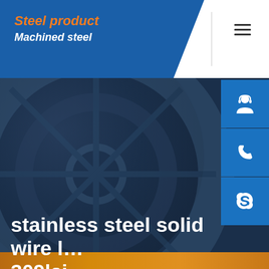Steel product / Machined steel
stainless steel solid wire lnm 309lsi
Home / stainless steel solid wire lnm 309lsi
[Figure (screenshot): Bottom image strip partially visible at bottom of page]